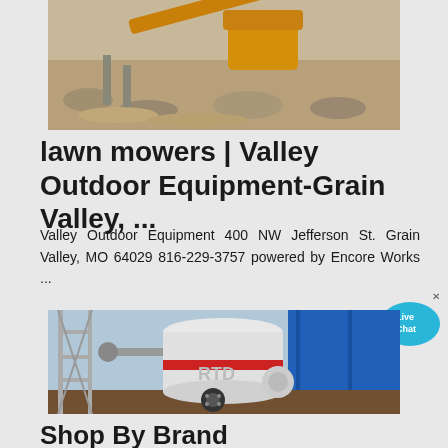[Figure (photo): Industrial gravel crushing or quarry equipment with yellow machinery and sandy/rocky ground]
lawn mowers | Valley Outdoor Equipment-Grain Valley, ...
Valley Outdoor Equipment 400 NW Jefferson St. Grain Valley, MO 64029 816-229-3757 powered by Encore Works ...
[Figure (photo): Large industrial grinding/milling machine in white and red, with blue cylindrical tanks in background, situated in an outdoor industrial area]
Shop By Brand